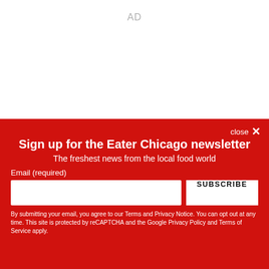AD
Sign up for the Eater Chicago newsletter
The freshest news from the local food world
Email (required)
SUBSCRIBE
By submitting your email, you agree to our Terms and Privacy Notice. You can opt out at any time. This site is protected by reCAPTCHA and the Google Privacy Policy and Terms of Service apply.